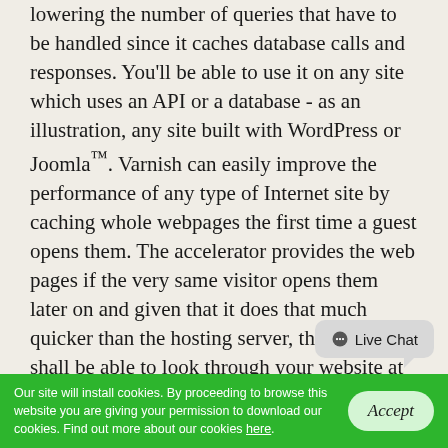lowering the number of queries that have to be handled since it caches database calls and responses. You'll be able to use it on any site which uses an API or a database - as an illustration, any site built with WordPress or Joomla™. Varnish can easily improve the performance of any type of Internet site by caching whole webpages the first time a guest opens them. The accelerator provides the web pages if the very same visitor opens them later on and given that it does that much quicker than the hosting server, the visitor shall be able to look through your website at least a couple of times faster. That is why Varnish is occasionally categorised as an HTTP reverse proxy. Node.js is an advanced platform which will enable you to build booking sites, web chats and other programs in which real-time server-user interaction
[Figure (other): Live Chat bubble widget in bottom-right area]
Our site will install cookies. By proceeding to browse this website you are giving your permission to download our cookies. Find out more about our cookies here.